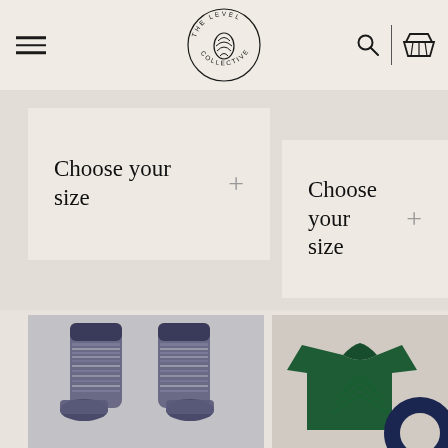[Figure (screenshot): Website header with hamburger menu icon on left, The Level Collective circular pine cone logo in center, search icon and basket icon on right]
Choose your size +
Choose your size +
[Figure (photo): Pair of marled grey and white knit socks laid flat on light grey background]
[Figure (photo): Dark green t-shirt with pine cone graphic print on chest, with dark navy circular donut ring shape in bottom right corner]